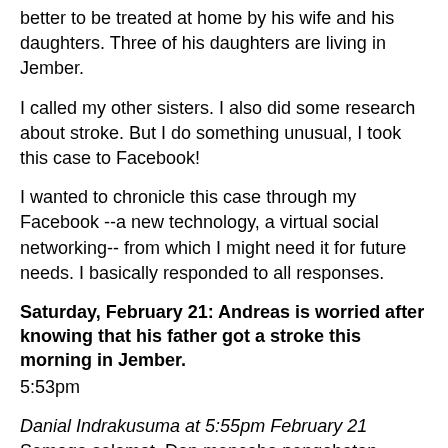better to be treated at home by his wife and his daughters. Three of his daughters are living in Jember.
I called my other sisters. I also did some research about stroke. But I do something unusual, I took this case to Facebook!
I wanted to chronicle this case through my Facebook --a new technology, a virtual social networking-- from which I might need it for future needs. I basically responded to all responses.
Saturday, February 21: Andreas is worried after knowing that his father got a stroke this morning in Jember.
5:53pm
Danial Indrakusuma at 5:55pm February 21
Semoga selamat. Dan mencoba pengobatan dengan metode combine food.
Sica Harum at 5:56pm February 21
mudah2an membaik. mas.